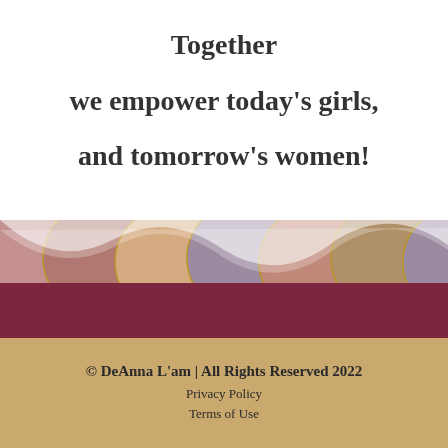Together we empower today's girls, and tomorrow's women!
[Figure (illustration): Decorative band of overlapping circles/scallop pattern in muted tones of mauve, purple, tan, brown, and rose with gold outlines, with a wavy white translucent overlay at the top edge.]
© DeAnna L'am | All Rights Reserved 2022
Privacy Policy
Terms of Use